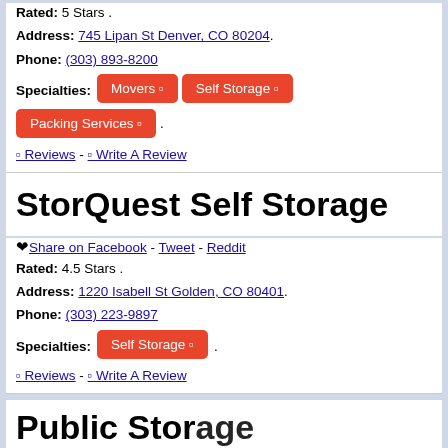Rated: 5 Stars .
Address: 745 Lipan St Denver, CO 80204.
Phone: (303) 893-8200
Specialties: Movers | Self Storage | Packing Services |.
0 Reviews - 0 Write A Review
StorQuest Self Storage
♥ Share on Facebook - Tweet - Reddit
Rated: 4.5 Stars .
Address: 1220 Isabell St Golden, CO 80401.
Phone: (303) 223-9897
Specialties: Self Storage |.
0 Reviews - 0 Write A Review
Public Storage